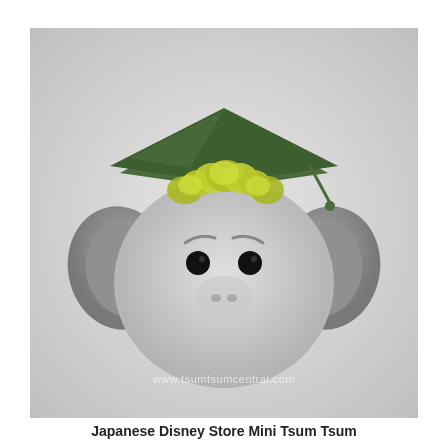[Figure (photo): A small gray fuzzy Tsum Tsum plush toy (elephant-like character) with large gray ears, yellow-green fluffy hair, and a dark green graduation cap hat, photographed against a light gray background. A watermark reads 'www.tsumtsumcentral.com'.]
Japanese Disney Store Mini Tsum Tsum